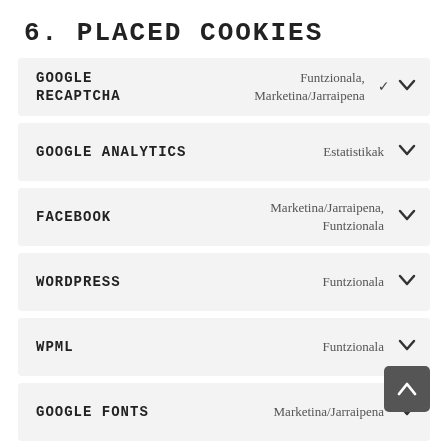6. PLACED COOKIES
GOOGLE RECAPTCHA | Funtzionala, Marketina/Jarraipena
GOOGLE ANALYTICS | Estatistikak
FACEBOOK | Marketina/Jarraipena, Funtzionala
WORDPRESS | Funtzionala
WPML | Funtzionala
GOOGLE FONTS | Marketina/Jarraipena
TWITTER | Funtzionala, Marketina/Jarraipena